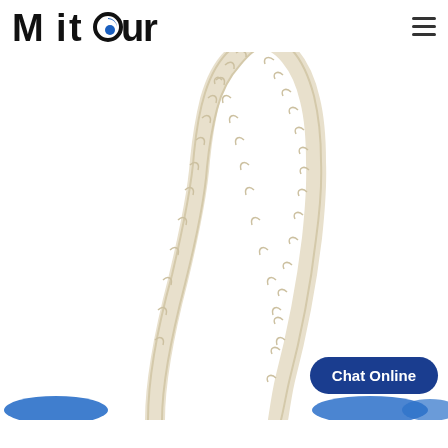[Figure (logo): Mitour company logo — bold black lettering with a blue circle element in the letter 'o']
green
[Figure (photo): Close-up photo of a twisted cream/natural-colored cotton rope handle forming an arch shape against a white background, part of a shopping bag. Blue oval button shapes visible at the bottom edge.]
Chat Online